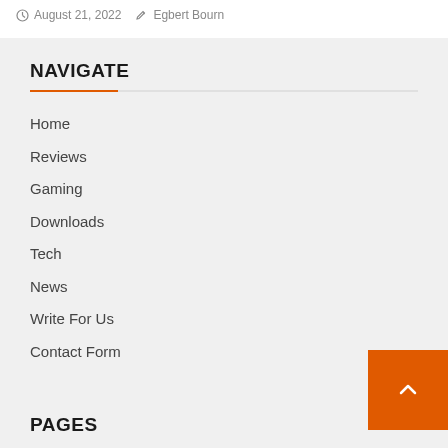August 21, 2022  Egbert Bourn
NAVIGATE
Home
Reviews
Gaming
Downloads
Tech
News
Write For Us
Contact Form
PAGES